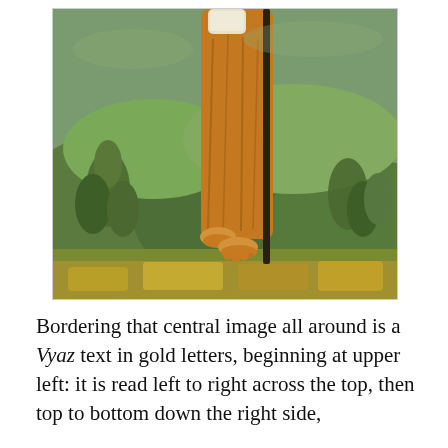[Figure (illustration): A detail of a medieval icon or painting showing a figure in golden-orange robes walking across a green landscape with stylized trees and hills. The figure's bare feet are visible near the lower portion of the image. The background features lush greenery with a sky of muted teal-green tones.]
Bordering that central image all around is a Vyaz text in gold letters, beginning at upper left: it is read left to right across the top, then top to bottom down the right side,